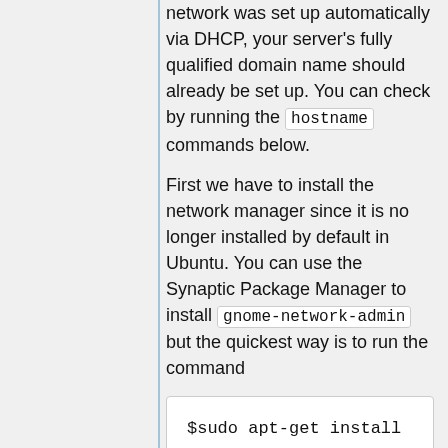network was set up automatically via DHCP, your server's fully qualified domain name should already be set up. You can check by running the hostname commands below.
First we have to install the network manager since it is no longer installed by default in Ubuntu. You can use the Synaptic Package Manager to install gnome-network-admin but the quickest way is to run the command
$sudo apt-get install gnome-network-admin
After this is installed
1. Select System , Administration , Network